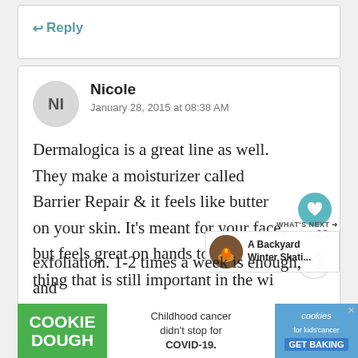← Reply
Nicole
January 28, 2015 at 08:38 AM
Dermalogica is a great line as well. They make a moisturizer called Barrier Repair & it feels like butter on your skin. It's meant for your face, but feels great on hands too. One thing that is still important in the wi... exfoliation. 1-2 times a week is enough, and
[Figure (screenshot): What's Next promotional widget showing a Backyard Winter Skating article thumbnail]
[Figure (infographic): Cookie Dough advertisement banner: Childhood cancer didn't stop for COVID-19. GET BAKING.]